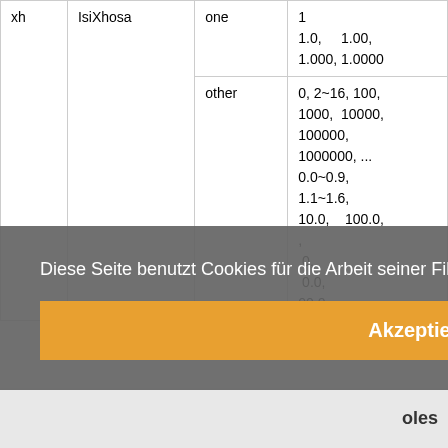|  |  |  |  |
| --- | --- | --- | --- |
| xh | IsiXhosa | one | 1
1.0, 1.00, 1.000, 1.0000 |
|  |  | other | 0, 2~16, 100, 1000, 10000, 100000, 1000000, ...
0.0~0.9, 1.1~1.6, 10.0, 100.0, ... |
Diese Seite benutzt Cookies für die Arbeit seiner Files.  Mehr Informationen
Akzeptieren
oles